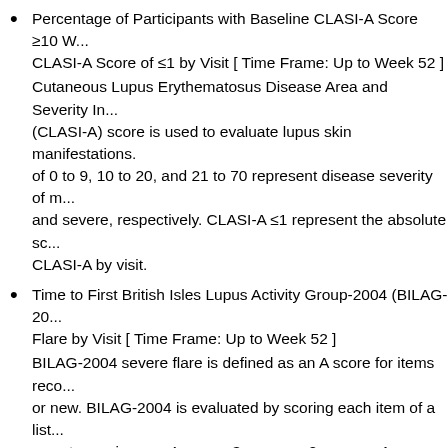Percentage of Participants with Baseline CLASI-A Score ≥10 W... CLASI-A Score of ≤1 by Visit [ Time Frame: Up to Week 52 ]
Cutaneous Lupus Erythematosus Disease Area and Severity In... (CLASI-A) score is used to evaluate lupus skin manifestations. ...of 0 to 9, 10 to 20, and 21 to 70 represent disease severity of m... and severe, respectively. CLASI-A ≤1 represent the absolute sc... CLASI-A by visit.
Time to First British Isles Lupus Activity Group-2004 (BILAG-20... Flare by Visit [ Time Frame: Up to Week 52 ]
BILAG-2004 severe flare is defined as an A score for items rec... or new. BILAG-2004 is evaluated by scoring each item of a list... symptoms given as 4 = new; 3 = worse; 2 = same; 1 = improvir... present; and ND = not done.
Time to First Severe Flare as Defined by Safety of Estrogens in... Erythematosus National Assessment - Systemic Lupus Erythe... Activity Index Flare Index (SFI) [ Time Frame: Up to Week 52 ]
SFI severe flare is defined any of the following: change in SLED...